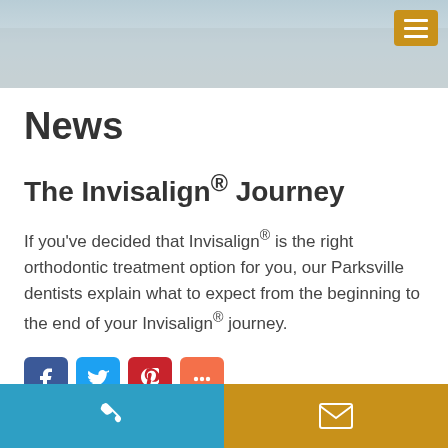[Figure (photo): Header photo showing people (family/patients) relaxing on a couch/sofa, with a golden/amber hamburger menu button in the top-right corner]
News
The Invisalign® Journey
If you've decided that Invisalign® is the right orthodontic treatment option for you, our Parksville dentists explain what to expect from the beginning to the end of your Invisalign® journey.
[Figure (other): Social sharing buttons: Facebook (blue), Twitter (light blue), Pinterest (red), More/Share (orange-red)]
Phone contact button (left, blue) and Email contact button (right, gold/amber)